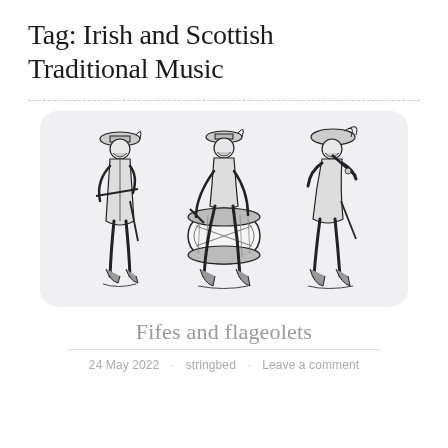Tag: Irish and Scottish Traditional Music
[Figure (illustration): Three historical figures in period costume: a fifer standing with a fife, a drummer playing a large bass drum, and a third musician playing a wind instrument (flageolet/fife), all depicted in black and white engraving style.]
Fifes and flageolets
24 May 2022  ·  stringbed  ·  Leave a comment